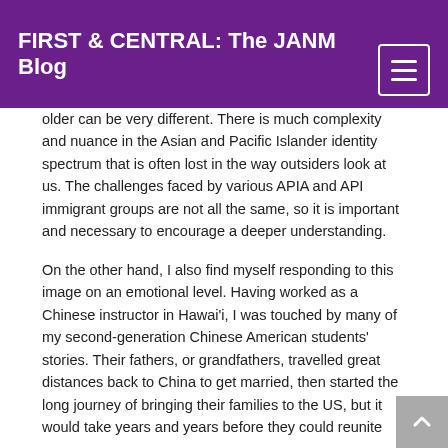FIRST & CENTRAL: The JANM Blog
older can be very different. There is much complexity and nuance in the Asian and Pacific Islander identity spectrum that is often lost in the way outsiders look at us. The challenges faced by various APIA and API immigrant groups are not all the same, so it is important and necessary to encourage a deeper understanding.
On the other hand, I also find myself responding to this image on an emotional level. Having worked as a Chinese instructor in Hawai'i, I was touched by many of my second-generation Chinese American students' stories. Their fathers, or grandfathers, travelled great distances back to China to get married, then started the long journey of bringing their families to the US, but it would take years and years before they could reunite